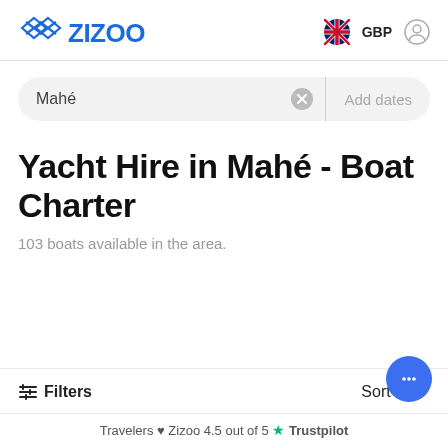ZIZOO GBP [user icon]
Mahé  Add dates
Yacht Hire in Mahé - Boat Charter
103 boats available in the area.
Filters  Sort by
Travelers ♥ Zizoo 4.5 out of 5 ★ Trustpilot